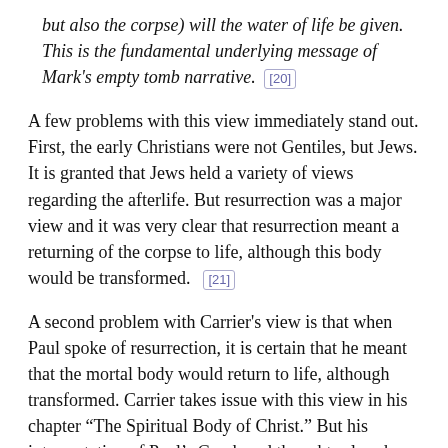but also the corpse) will the water of life be given. This is the fundamental underlying message of Mark's empty tomb narrative. [20]
A few problems with this view immediately stand out. First, the early Christians were not Gentiles, but Jews. It is granted that Jews held a variety of views regarding the afterlife. But resurrection was a major view and it was very clear that resurrection meant a returning of the corpse to life, although this body would be transformed. [21]
A second problem with Carrier’s view is that when Paul spoke of resurrection, it is certain that he meant that the mortal body would return to life, although transformed. Carrier takes issue with this view in his chapter “The Spiritual Body of Christ.” But his interpretation of Paul’s Greek and thoughts elsewhere are severely flawed, as I noted in our debate. [22] The